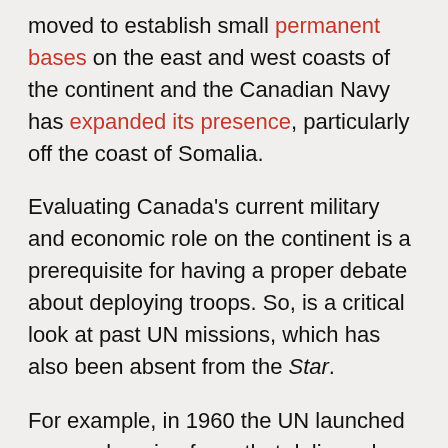moved to establish small permanent bases on the east and west coasts of the continent and the Canadian Navy has expanded its presence, particularly off the coast of Somalia.
Evaluating Canada's current military and economic role on the continent is a prerequisite for having a proper debate about deploying troops. So, is a critical look at past UN missions, which has also been absent from the Star.
For example, in 1960 the UN launched a peacekeeping force that delivered a major blow to Congolese democratic aspirations by undermining elected Prime Minister Patrice Lumumba. As detailed in Canada, the Congo Crisis, and UN Peacekeeping, 1960-64, Canadian soldiers played a significant role in the mission that enabled